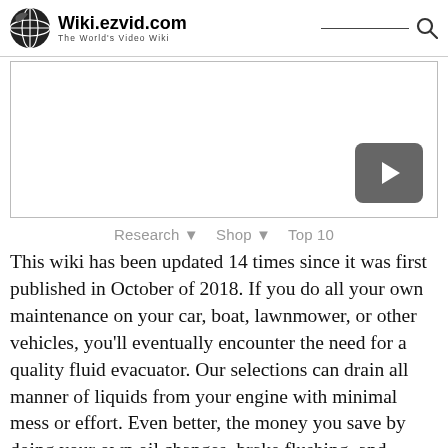Wiki.ezvid.com — The World's Video Wiki
[Figure (screenshot): Embedded video player placeholder with a play button in the bottom-right corner]
Research ▼   Shop ▼   Top 10
This wiki has been updated 14 times since it was first published in October of 2018. If you do all your own maintenance on your car, boat, lawnmower, or other vehicles, you'll eventually encounter the need for a quality fluid evacuator. Our selections can drain all manner of liquids from your engine with minimal mess or effort. Even better, the money you save by doing your own oil changes, brake flushing, and